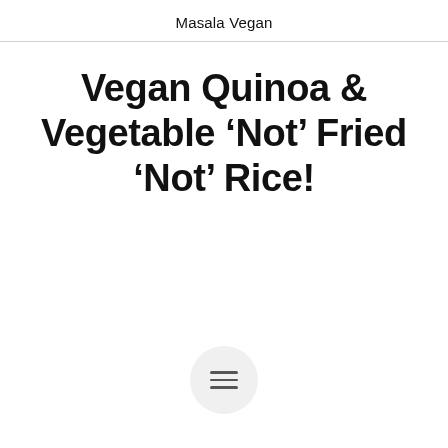Masala Vegan
Vegan Quinoa & Vegetable ‘Not’ Fried ‘Not’ Rice!